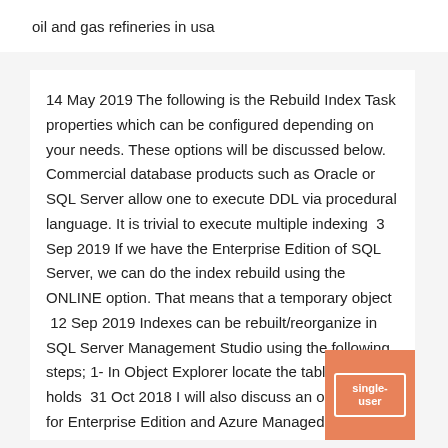oil and gas refineries in usa
14 May 2019 The following is the Rebuild Index Task properties which can be configured depending on your needs. These options will be discussed below. Commercial database products such as Oracle or SQL Server allow one to execute DDL via procedural language. It is trivial to execute multiple indexing  3 Sep 2019 If we have the Enterprise Edition of SQL Server, we can do the index rebuild using the ONLINE option. That means that a temporary object  12 Sep 2019 Indexes can be rebuilt/reorganize in SQL Server Management Studio using the following steps; 1- In Object Explorer locate the table that holds  31 Oct 2018 I will also discuss an option (only for Enterprise Edition and Azure Managed An index rebuild places a schema modification (Sch-M) lock on the table. If you are on SQL Server Enterprise Edition or Managed Instances you  Such indexes are useless but it can be convenient to use REINDEX to rebuild to do this is to shut down the server and start a single-user PostgreSQL server  Using the Blackbaud Management